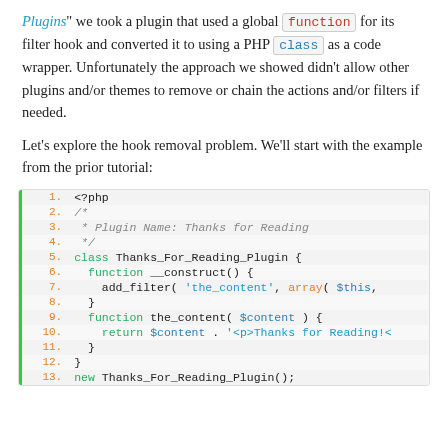Plugins" we took a plugin that used a global function for its filter hook and converted it to using a PHP class as a code wrapper. Unfortunately the approach we showed didn't allow other plugins and/or themes to remove or chain the actions and/or filters if needed.
Let's explore the hook removal problem. We'll start with the example from the prior tutorial:
[Figure (screenshot): PHP code block showing a WordPress plugin class Thanks_For_Reading_Plugin with __construct and the_content methods, using add_filter to hook into 'the_content', returning $content concatenated with '<p>Thanks for Reading!...'. Line numbers 1-13 shown in orange, left border green.]